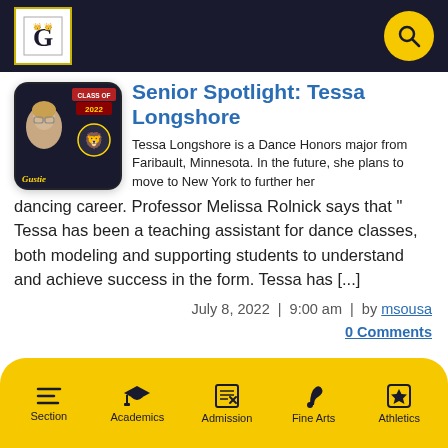Gustavus Adolphus College header with logo and search icon
Senior Spotlight: Tessa Longshore
[Figure (photo): Photo of Tessa Longshore on a Class of 2022 Gustavus student ID card]
Tessa Longshore is a Dance Honors major from Faribault, Minnesota. In the future, she plans to move to New York to further her dancing career. Professor Melissa Rolnick says that “Tessa has been a teaching assistant for dance classes, both modeling and supporting students to understand and achieve success in the form. Tessa has [...]
July 8, 2022 | 9:00 am | by msousa
0 Comments
Section | Academics | Admission | Fine Arts | Athletics